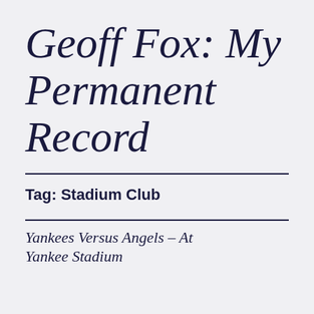Geoff Fox: My Permanent Record
Tag: Stadium Club
Yankees Versus Angels – At Yankee Stadium